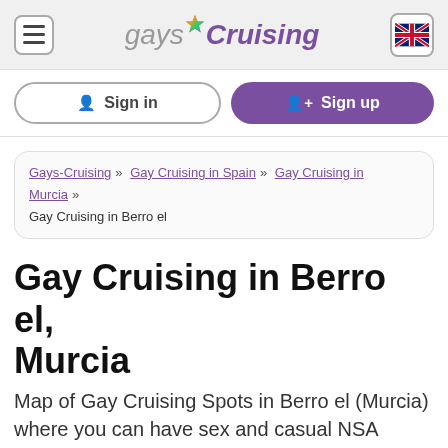gaysCruising [logo with hamburger menu and UK flag]
Sign in | Sign up
Gays-Cruising » Gay Cruising in Spain » Gay Cruising in Murcia » Gay Cruising in Berro el
Gay Cruising in Berro el, Murcia
Map of Gay Cruising Spots in Berro el (Murcia) where you can have sex and casual NSA encounters with unknown boys in public places